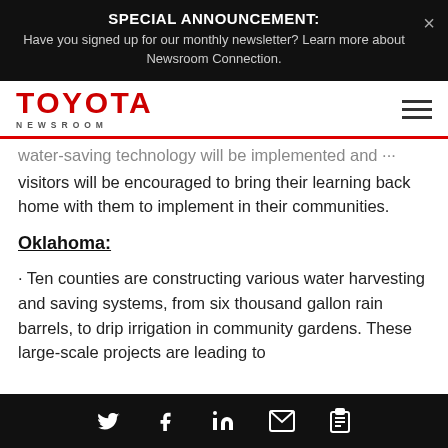SPECIAL ANNOUNCEMENT: Have you signed up for our monthly newsletter? Learn more about Newsroom Connection.
[Figure (logo): Toyota Newsroom logo in red with 'NEWSROOM' subtitle and hamburger menu icon]
water-saving technology will be implemented and visitors will be encouraged to bring their learning back home with them to implement in their communities.
Oklahoma:
· Ten counties are constructing various water harvesting and saving systems, from six thousand gallon rain barrels, to drip irrigation in community gardens. These large-scale projects are leading to
Social share icons: Twitter, Facebook, LinkedIn, Email, Clipboard